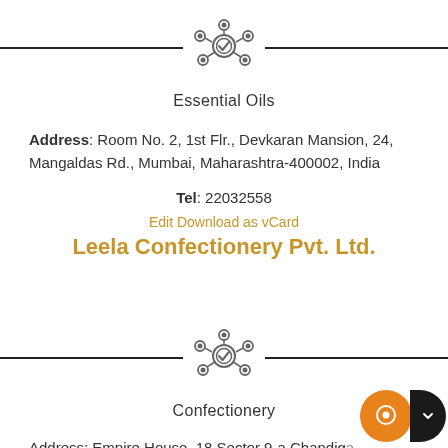[Figure (logo): Network/hub icon with checkmark in center, gray outlined style]
Essential Oils
Address: Room No. 2, 1st Flr., Devkaran Mansion, 24, Mangaldas Rd., Mumbai, Maharashtra-400002, India
Tel: 22032558
Edit Download as vCard
Leela Confectionery Pvt. Ltd.
[Figure (logo): Network/hub icon with checkmark in center, gray outlined style]
Confectionery
Address: Empire House, 18 Sector 9-a Chandigarh
U.t. 160017, India